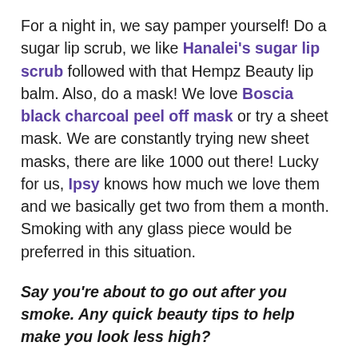For a night in, we say pamper yourself! Do a sugar lip scrub, we like Hanalei's sugar lip scrub followed with that Hempz Beauty lip balm. Also, do a mask! We love Boscia black charcoal peel off mask or try a sheet mask. We are constantly trying new sheet masks, there are like 1000 out there! Lucky for us, Ipsy knows how much we love them and we basically get two from them a month. Smoking with any glass piece would be preferred in this situation.
Say you're about to go out after you smoke. Any quick beauty tips to help make you look less high?
If you aren't wearing foundation, Witch Hazel Cleansing Pads are great for a quick cleanse and it brightens up your face a bit. Using a white or brighter eye liner, you can even use a highlighter with an angled brush for this, but just lightly line your water line and you're